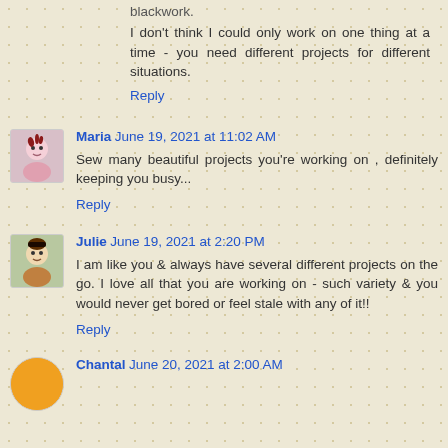blackwork.
I don't think I could only work on one thing at a time - you need different projects for different situations.
Reply
Maria June 19, 2021 at 11:02 AM
Sew many beautiful projects you're working on , definitely keeping you busy...
Reply
Julie June 19, 2021 at 2:20 PM
I am like you & always have several different projects on the go. I love all that you are working on - such variety & you would never get bored or feel stale with any of it!!
Reply
Chantal June 20, 2021 at 2:00 AM